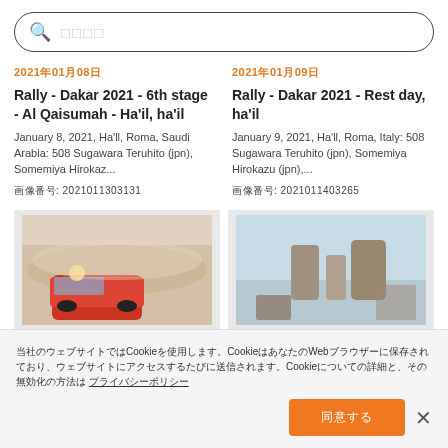□□□□ (search placeholder)
2021年01月08日
Rally - Dakar 2021 - 6th stage - Al Qaisumah - Ha'il, ha'il
January 8, 2021, Ha'll, Roma, Saudi Arabia: 508 Sugawara Teruhito (jpn), Somemiya Hirokaz...
画像番号: 2021011303131
2021年01月09日
Rally - Dakar 2021 - Rest day, ha'il
January 9, 2021, Ha'll, Roma, Italy: 508 Sugawara Teruhito (jpn), Somemiya Hirokazu (jpn),...
画像番号: 2021011403265
[Figure (photo): Rally car driving through desert dust]
[Figure (photo): Rocky desert landscape with vehicle]
当社のウェブサイトではCookieを使用します。CookieはあなたのWebブラウザーに保存されており、ウェブサイトにアクセスするたびに送信されます。Cookieについての詳細と、その無効化の方法は プライバシーポリシー
同意する